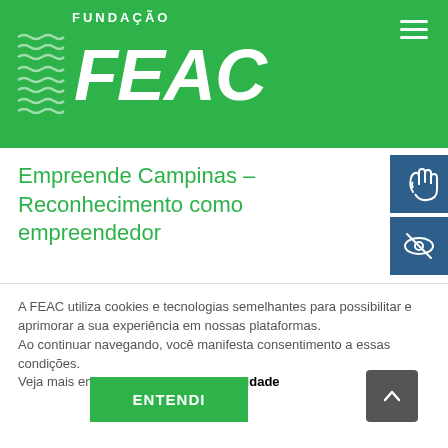[Figure (logo): Fundação FEAC logo — white italic bold FEAC text with wavy lines icon on green background]
Empreende Campinas – Reconhecimento como empreendedor
[Figure (illustration): Accessibility icon: hand/wave symbol on dark blue background]
[Figure (illustration): Accessibility icon: eye with slash symbol on dark blue background]
A FEAC utiliza cookies e tecnologias semelhantes para possibilitar e aprimorar a sua experiência em nossas plataformas.
Ao continuar navegando, você manifesta consentimento a essas condições.
Veja mais em nossa Política de Privacidade
ENTENDI